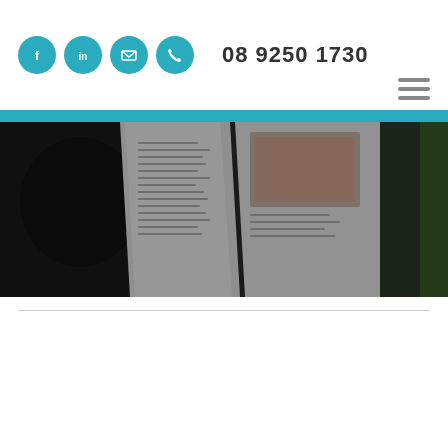[Figure (infographic): Website header with four teal circular social media icons (Facebook, LinkedIn, Email, Phone), a phone number '08 9250 1730', and a hamburger menu icon in the top right]
[Figure (photo): Hero banner photo showing an open magazine or book being read, with dark blurred background and teal stripe above]
[Figure (other): Thin horizontal divider line below the hero image]